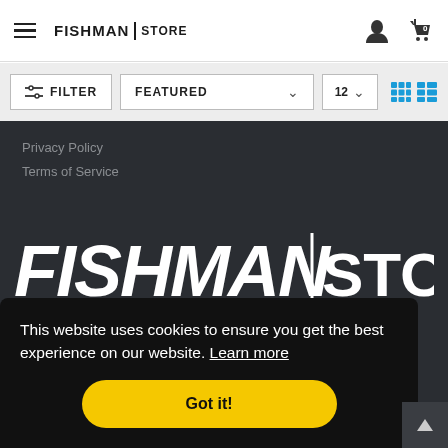FISHMAN STORE - Navigation header with hamburger menu, logo, user icon, and cart (0)
FILTER   FEATURED   12
Privacy Policy
Terms of Service
[Figure (logo): FISHMAN STORE large white logo on dark background]
This website uses cookies to ensure you get the best experience on our website. Learn more
Got it!